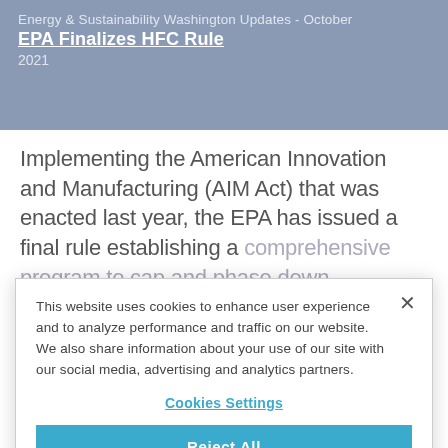Energy & Sustainability Washington Updates - October
EPA Finalizes HFC Rule
2021
Implementing the American Innovation and Manufacturing (AIM Act) that was enacted last year, the EPA has issued a final rule establishing a comprehensive program to cap and phase down
This website uses cookies to enhance user experience and to analyze performance and traffic on our website. We also share information about your use of our site with our social media, advertising and analytics partners.
Cookies Settings
Reject All
Accept Cookies